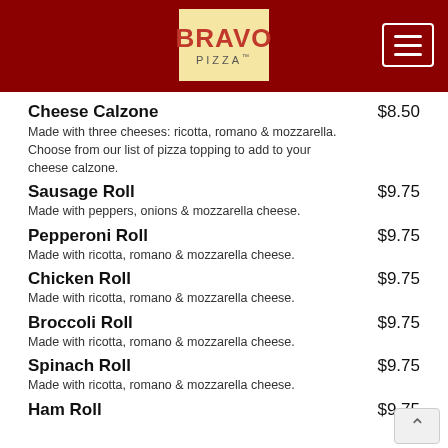BRAVO PIZZA
Cheese Calzone $8.50 — Made with three cheeses: ricotta, romano & mozzarella. Choose from our list of pizza topping to add to your cheese calzone.
Sausage Roll $9.75 — Made with peppers, onions & mozzarella cheese.
Pepperoni Roll $9.75 — Made with ricotta, romano & mozzarella cheese.
Chicken Roll $9.75 — Made with ricotta, romano & mozzarella cheese.
Broccoli Roll $9.75 — Made with ricotta, romano & mozzarella cheese.
Spinach Roll $9.75 — Made with ricotta, romano & mozzarella cheese.
Ham Roll $9.75